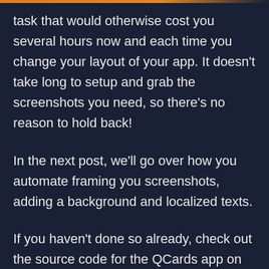task that would otherwise cost you several hours now and each time you change your layout of your app. It doesn't take long to setup and grab the screenshots you need, so there's no reason to hold back!
In the next post, we'll go over how you automate framing you screenshots, adding a background and localized texts.
If you haven't done so already, check out the source code for the QCards app on GitHub.